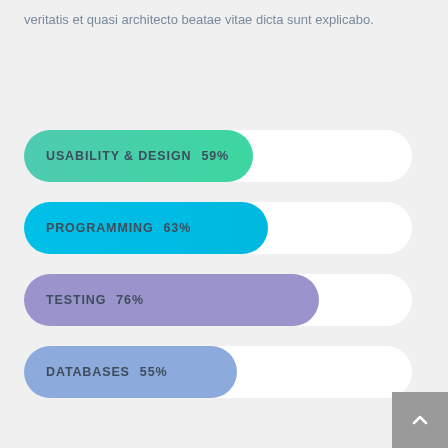veritatis et quasi architecto beatae vitae dicta sunt explicabo.
[Figure (bar-chart): Skills Chart]